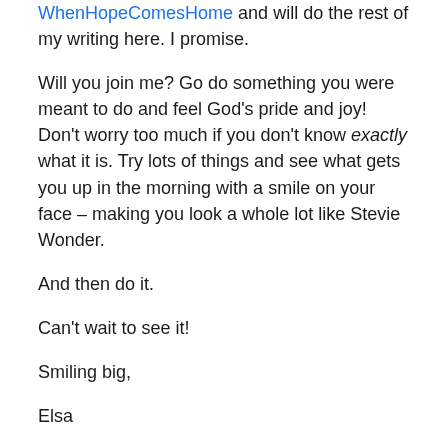WhenHopeComesHome and will do the rest of my writing here. I promise.
Will you join me? Go do something you were meant to do and feel God's pride and joy! Don't worry too much if you don't know exactly what it is. Try lots of things and see what gets you up in the morning with a smile on your face – making you look a whole lot like Stevie Wonder.
And then do it.
Can't wait to see it!
Smiling big,
Elsa
Oh, and if you would like to receive these in your e-mail, you can click here and sign up to subscribe. 🙂 And then